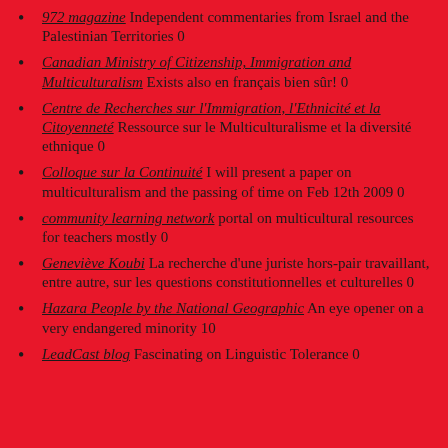972 magazine Independent commentaries from Israel and the Palestinian Territories 0
Canadian Ministry of Citizenship, Immigration and Multiculturalism Exists also en français bien sûr! 0
Centre de Recherches sur l'Immigration, l'Ethnicité et la Citoyenneté Ressource sur le Multiculturalisme et la diversité ethnique 0
Colloque sur la Continuité I will present a paper on multiculturalism and the passing of time on Feb 12th 2009 0
community learning network portal on multicultural resources for teachers mostly 0
Geneviève Koubi La recherche d'une juriste hors-pair travaillant, entre autre, sur les questions constitutionnelles et culturelles 0
Hazara People by the National Geographic An eye opener on a very endangered minority 10
LeadCast blog Fascinating on Linguistic Tolerance 0